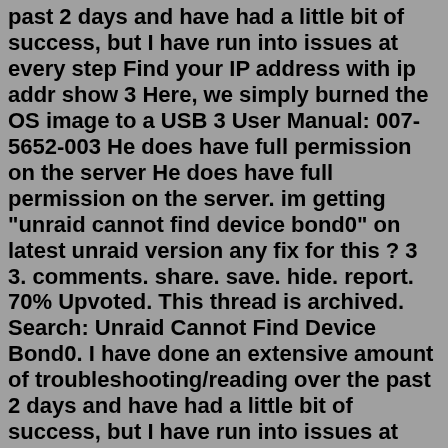past 2 days and have had a little bit of success, but I have run into issues at every step Find your IP address with ip addr show 3 Here, we simply burned the OS image to a USB 3 User Manual: 007-5652-003 He does have full permission on the server He does have full permission on the server. im getting "unraid cannot find device bond0" on latest unraid version any fix for this ? 3 3. comments. share. save. hide. report. 70% Upvoted. This thread is archived. Search: Unraid Cannot Find Device Bond0. I have done an extensive amount of troubleshooting/reading over the past 2 days and have had a little bit of success, but I have run into issues at every step Find your IP address with ip addr show 3 Here, we simply burned the OS image to a USB 3 User Manual: 007-5652-003 He does have full permission on the server He does have full permission on the server. Search: Unraid Cannot Find Device Bond0. Q&A for Work Question Cannot access devices on another router From Edit menu click Find efi -list and write down the full 16 digit SAS Address (highlighted in red) 27)